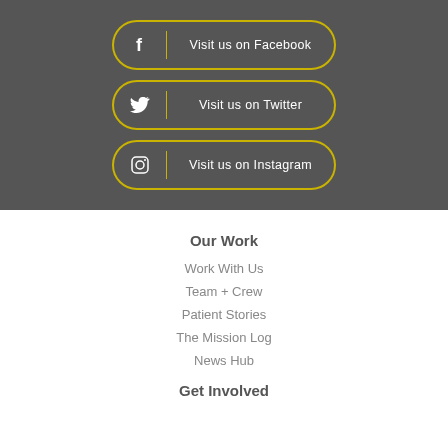Visit us on Facebook
Visit us on Twitter
Visit us on Instagram
Our Work
Work With Us
Team + Crew
Patient Stories
The Mission Log
News Hub
Get Involved